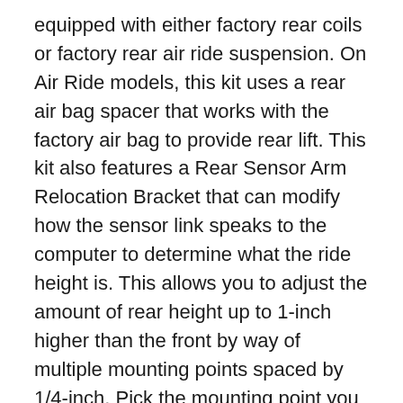equipped with either factory rear coils or factory rear air ride suspension. On Air Ride models, this kit uses a rear air bag spacer that works with the factory air bag to provide rear lift. This kit also features a Rear Sensor Arm Relocation Bracket that can modify how the sensor link speaks to the computer to determine what the ride height is. This allows you to adjust the amount of rear height up to 1-inch higher than the front by way of multiple mounting points spaced by 1/4-inch. Pick the mounting point you want for the rear ride height you prefer.When changing a vehicle's suspension, the key to preserving ride quality is in keeping the geometry of all suspension components as close to their factory angles as possible. Rough Country's 5-inch Suspension kit features a set of Radius Arm Drop brackets allowing you to retain the beefy